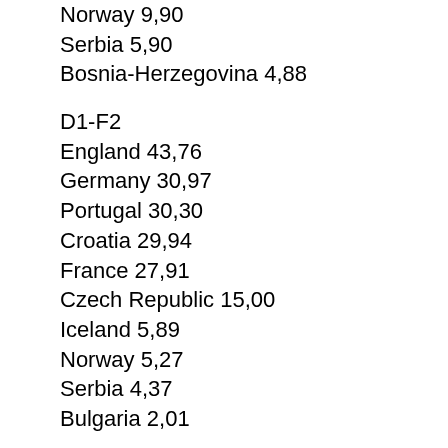Norway 9,90
Serbia 5,90
Bosnia-Herzegovina 4,88
D1-F2
England 43,76
Germany 30,97
Portugal 30,30
Croatia 29,94
France 27,91
Czech Republic 15,00
Iceland 5,89
Norway 5,27
Serbia 4,37
Bulgaria 2,01
E1-nr3
Spain 55,81
Sweden 18,02
Poland 12,32
Ukraine 10,32
Finland 9,43
Austria 9,10